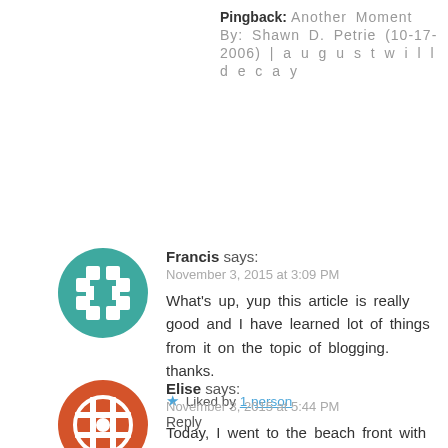Pingback: Another Moment By: Shawn D. Petrie (10-17-2006) | a u g u s t w i l l d e c a y
Francis says:
November 3, 2015 at 3:09 PM
What’s up, yup this article is really good and I have learned lot of things from it on the topic of blogging. thanks.
★ Liked by 1 person
Reply
Elise says:
November 3, 2015 at 5:44 PM
Today, I went to the beach front with